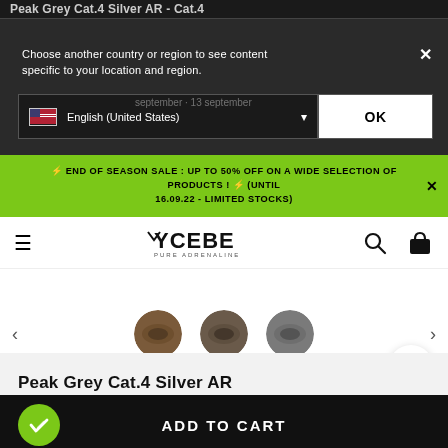Peak Grey Cat.4 Silver AR - Cat.4
Choose another country or region to see content specific to your location and region.
English (United States)
OK
⚡ END OF SEASON SALE : UP TO 50% OFF ON A WIDE SELECTION OF PRODUCTS ! ⚡ (UNTIL 16.09.22 - LIMITED STOCKS)
[Figure (logo): Ycebe Pure Adrenaline brand logo with hamburger menu, search and cart icons]
[Figure (photo): Three circular product thumbnail images showing goggle lenses in brown/grey tones with left and right navigation arrows]
Peak Grey Cat.4 Silver AR
ADD TO CART